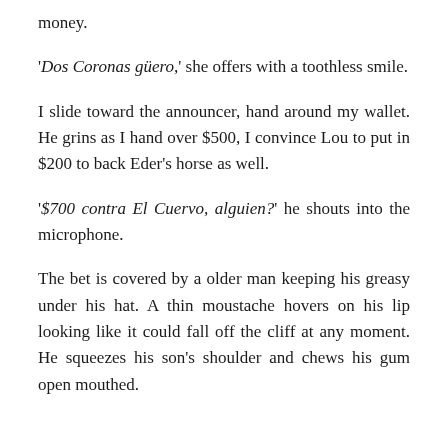money.
'Dos Coronas güero,' she offers with a toothless smile.
I slide toward the announcer, hand around my wallet. He grins as I hand over $500, I convince Lou to put in $200 to back Eder's horse as well.
'$700 contra El Cuervo, alguien?' he shouts into the microphone.
The bet is covered by a older man keeping his greasy under his hat. A thin moustache hovers on his lip looking like it could fall off the cliff at any moment. He squeezes his son's shoulder and chews his gum open mouthed.